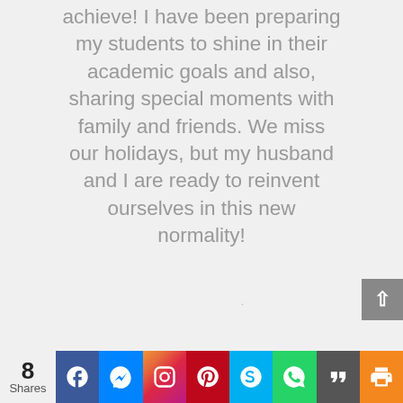achieve! I have been preparing my students to shine in their academic goals and also, sharing special moments with family and friends. We miss our holidays, but my husband and I are ready to reinvent ourselves in this new normality!
[Figure (screenshot): Social sharing bar with share count (8 Shares) and icons for Facebook, Messenger, Instagram, Pinterest, Skype, WhatsApp, Quora/Quote, and Print]